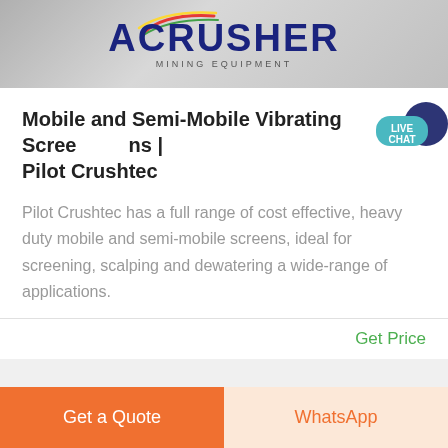[Figure (logo): ACrusher Mining Equipment logo with colored swoosh stripes above bold dark blue ACRUSHER text on textured grey background]
Mobile and Semi-Mobile Vibrating Screens | Pilot Crushtec
Pilot Crushtec has a full range of cost effective, heavy duty mobile and semi-mobile screens, ideal for screening, scalping and dewatering a wide-range of applications.
Get Price
Get a Quote
WhatsApp